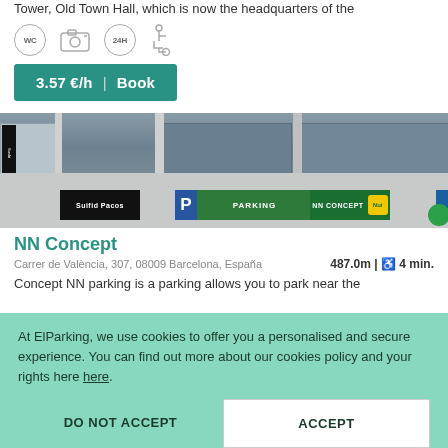Tower, Old Town Hall, which is now the headquarters of the
[Figure (infographic): Row of amenity icons: WC circle, CCTV camera icon, 24H circle, wheelchair accessibility icon]
3.57 €/h | Book
[Figure (photo): Street-level photo of a parking facility with a blue P sign, green PARKING and NN CONCEPT banners, and an NN logo badge]
NN Concept
Carrer de València, 307, 08009 Barcelona, España      487.0m | 🚶 4 min.
Concept NN parking is a parking allows you to park near the
At ElParking, we use cookies to offer you a personalised and secure experience. You can find out more about our cookies policy and your rights here here.
DO NOT ACCEPT
ACCEPT